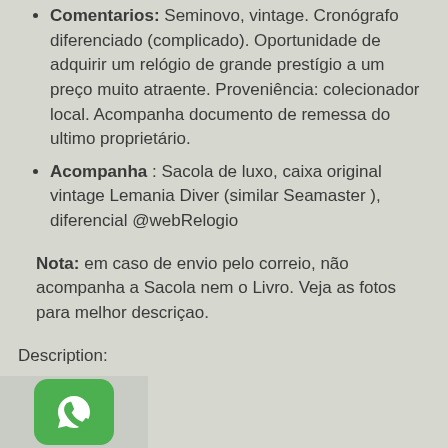Comentarios: Seminovo, vintage. Cronógrafo diferenciado (complicado). Oportunidade de adquirir um relógio de grande prestígio a um preço muito atraente. Proveniência: colecionador local. Acompanha documento de remessa do ultimo proprietário.
Acompanha : Sacola de luxo, caixa original vintage Lemania Diver (similar Seamaster ), diferencial @webRelogio
Nota: em caso de envio pelo correio, não acompanha a Sacola nem o Livro. Veja as fotos para melhor descriçao.
Description:
[Figure (logo): WhatsApp logo icon — green rounded square with white phone handset graphic]